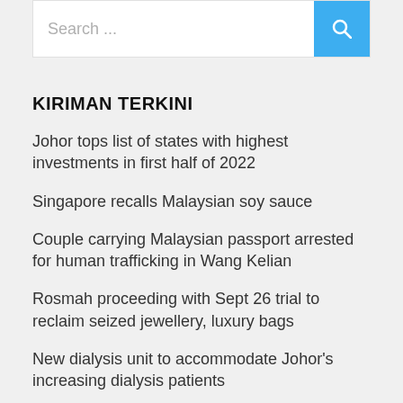Search ...
KIRIMAN TERKINI
Johor tops list of states with highest investments in first half of 2022
Singapore recalls Malaysian soy sauce
Couple carrying Malaysian passport arrested for human trafficking in Wang Kelian
Rosmah proceeding with Sept 26 trial to reclaim seized jewellery, luxury bags
New dialysis unit to accommodate Johor’s increasing dialysis patients
KATEGORI